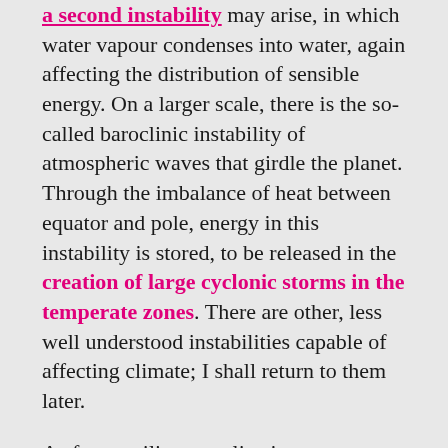a second instability may arise, in which water vapour condenses into water, again affecting the distribution of sensible energy. On a larger scale, there is the so-called baroclinic instability of atmospheric waves that girdle the planet. Through the imbalance of heat between equator and pole, energy in this instability is stored, to be released in the creation of large cyclonic storms in the temperate zones. There are other, less well understood instabilities capable of affecting climate; I shall return to them later.
As far as military applications are concerned, I conjecture that precipitation enhancement would have a limited value in classical